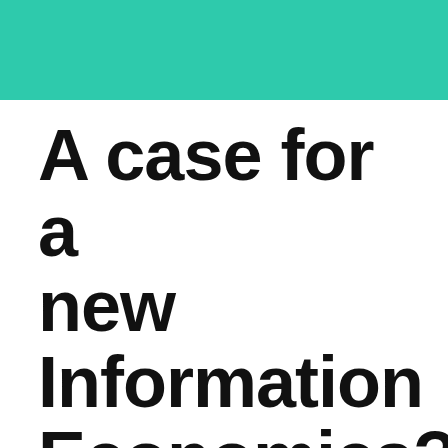[Figure (other): Teal/green decorative header bar spanning full width]
A case for a new Information Economics?
Published on: 2008-6-27